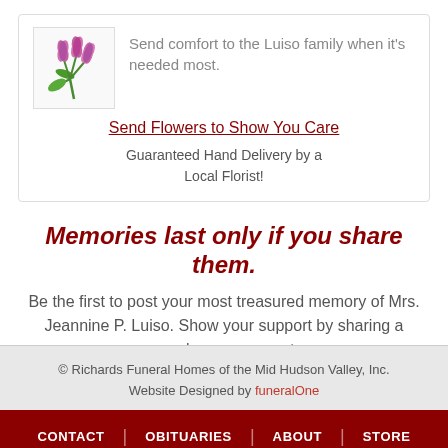[Figure (photo): Pink/purple tulip flowers bouquet on white background]
Send comfort to the Luiso family when it's needed most.
Send Flowers to Show You Care
Guaranteed Hand Delivery by a Local Florist!
Memories last only if you share them.
Be the first to post your most treasured memory of Mrs. Jeannine P. Luiso. Show your support by sharing a personal message or story.
© Richards Funeral Homes of the Mid Hudson Valley, Inc. Website Designed by funeralOne
CONTACT | OBITUARIES | ABOUT | STORE